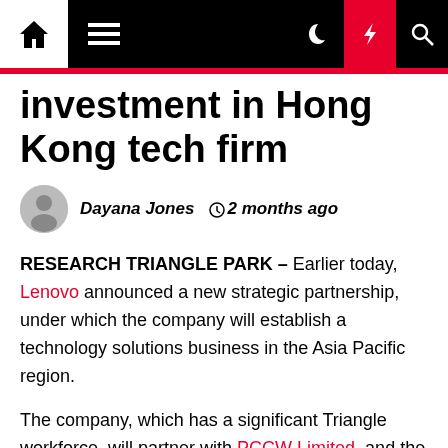Navigation bar with home, menu, dark mode, flash, and search icons
investment in Hong Kong tech firm
Dayana Jones  2 months ago
RESEARCH TRIANGLE PARK – Earlier today, Lenovo announced a new strategic partnership, under which the company will establish a technology solutions business in the Asia Pacific region.
The company, which has a significant Triangle workforce, will partner with PCCW Limited, and the partnership will be known as PCCW Lenovo Technology Solutions Limited or PLTS for short.